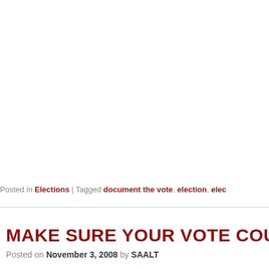Posted in Elections | Tagged document the vote, election, elec...
MAKE SURE YOUR VOTE COUNTS ON
Posted on November 3, 2008 by SAALT